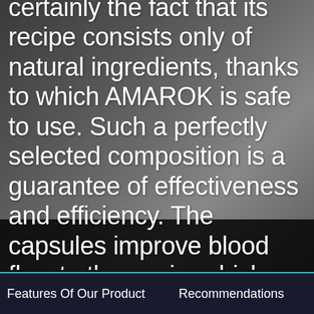certainly the fact that its recipe consists only of natural ingredients, thanks to which AMAROK is safe to use. Such a perfectly selected composition is a guarantee of effectiveness and efficiency. The capsules improve blood flow to the penis, which guarantees a better erection. Additionally, the testosterone level is increased. AMAROK also influences the growth of the penis, which can increase by up
Features Of Our Product   Recommendations